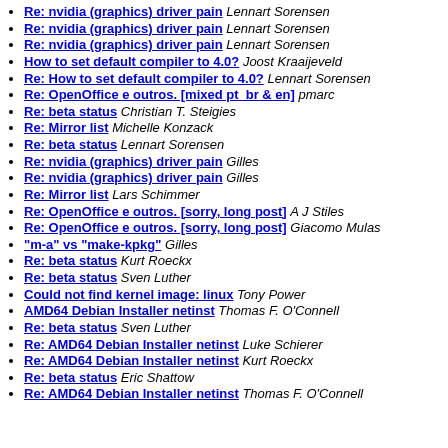Re: nvidia (graphics) driver pain  Lennart Sorensen
Re: nvidia (graphics) driver pain  Lennart Sorensen
Re: nvidia (graphics) driver pain  Lennart Sorensen
How to set default compiler to 4.0?  Joost Kraaijeveld
Re: How to set default compiler to 4.0?  Lennart Sorensen
Re: OpenOffice e outros. [mixed pt_br & en]  pmarc
Re: beta status  Christian T. Steigies
Re: Mirror list  Michelle Konzack
Re: beta status  Lennart Sorensen
Re: nvidia (graphics) driver pain  Gilles
Re: nvidia (graphics) driver pain  Gilles
Re: Mirror list  Lars Schimmer
Re: OpenOffice e outros. [sorry, long post]  A J Stiles
Re: OpenOffice e outros. [sorry, long post]  Giacomo Mulas
"m-a" vs "make-kpkg"  Gilles
Re: beta status  Kurt Roeckx
Re: beta status  Sven Luther
Could not find kernel image: linux  Tony Power
AMD64 Debian Installer netinst  Thomas F. O'Connell
Re: beta status  Sven Luther
Re: AMD64 Debian Installer netinst  Luke Schierer
Re: AMD64 Debian Installer netinst  Kurt Roeckx
Re: beta status  Eric Shattow
Re: AMD64 Debian Installer netinst  Thomas F. O'Connell